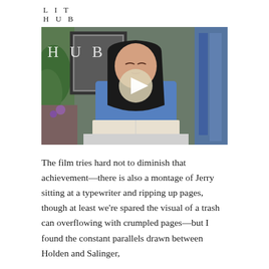LIT
HUB
[Figure (screenshot): Video thumbnail showing a woman with dark hair reading a book, with a play button overlay and 'HUB' text watermark in the upper left corner]
The film tries hard not to diminish that achievement—there is also a montage of Jerry sitting at a typewriter and ripping up pages, though at least we're spared the visual of a trash can overflowing with crumpled pages—but I found the constant parallels drawn between Holden and Salinger, or something to that, I